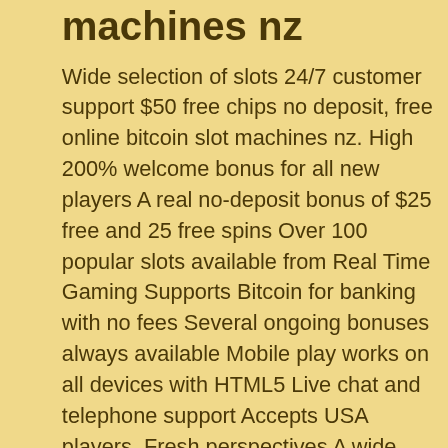machines nz
Wide selection of slots 24/7 customer support $50 free chips no deposit, free online bitcoin slot machines nz. High 200% welcome bonus for all new players A real no-deposit bonus of $25 free and 25 free spins Over 100 popular slots available from Real Time Gaming Supports Bitcoin for banking with no fees Several ongoing bonuses always available Mobile play works on all devices with HTML5 Live chat and telephone support Accepts USA players. Fresh perspectives A wide array of banking options US players are welcome Both download and instant play options available 275% matching bonus for up to $550 deposit 24/7 responsive customer support SSL encrypted Independent audits proved the casino fair. Great bonus offers for new players Reasonable wagering requirements Mobile friendly Bitcoin friendly.